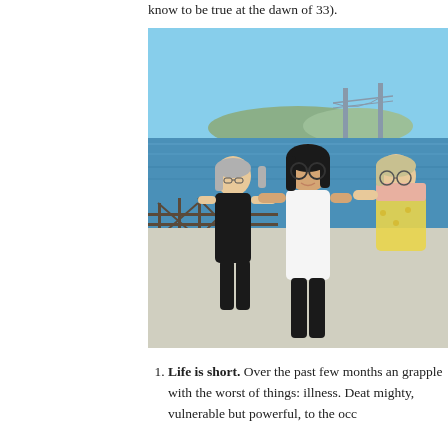know to be true at the dawn of 33).
[Figure (photo): Three women standing together outdoors on a pier or waterfront area with the Bay Bridge and blue water visible in the background on a sunny day. One woman has grey hair and wears black, the middle woman has dark hair and glasses wearing a white tank top, and the third woman has light hair and glasses wearing a yellow floral skirt.]
Life is short. Over the past few months an grapple with the worst of things: illness. Deat mighty, vulnerable but powerful, to the occ